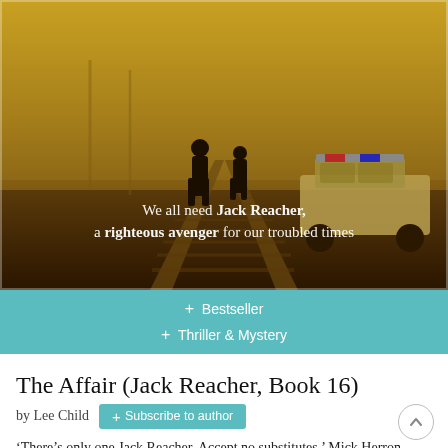[Figure (photo): Sepia-toned book cover image showing two figures standing on railway tracks beside a police car in a misty, industrial setting. Overlaid text reads: 'We all need Jack Reacher, a righteous avenger for our troubled times']
+ Bestseller
+ Thriller & Mystery
The Affair (Jack Reacher, Book 16)
by Lee Child
+ Subscribe to author
‘There’s only one Jack Reacher. Accept no substitutes.’ Mick Herron March 1997. A woman has her throat cut behind a bar in Mississippi. Just down the road is a big